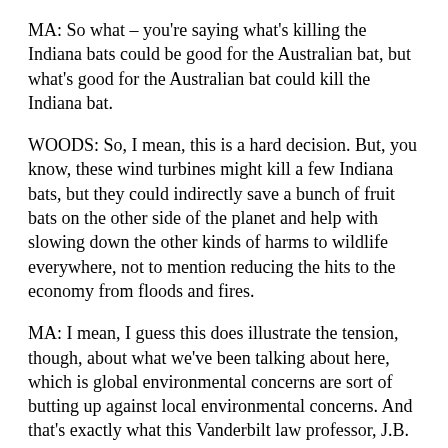MA: So what – you're saying what's killing the Indiana bats could be good for the Australian bat, but what's good for the Australian bat could kill the Indiana bat.
WOODS: So, I mean, this is a hard decision. But, you know, these wind turbines might kill a few Indiana bats, but they could indirectly save a bunch of fruit bats on the other side of the planet and help with slowing down the other kinds of harms to wildlife everywhere, not to mention reducing the hits to the economy from floods and fires.
MA: I mean, I guess this does illustrate the tension, though, about what we've been talking about here, which is global environmental concerns are sort of butting up against local environmental concerns. And that's exactly what this Vanderbilt law professor, J.B. Ruhl, was talking about, right? He says renewable energy projects struggle all around the country because of this.
RUHL: There is a long list of challenges to wind and solar power facilities.